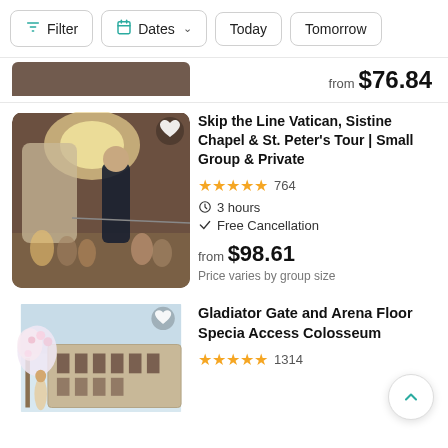Filter | Dates | Today | Tomorrow
from $76.84
[Figure (photo): Person pointing at a marble statue inside the Vatican Museums, with arched window and crowd in background]
Skip the Line Vatican, Sistine Chapel & St. Peter's Tour | Small Group & Private
★★★★★ 764
3 hours
Free Cancellation
from $98.61
Price varies by group size
[Figure (photo): Colosseum exterior with flowering trees and a woman in foreground]
Gladiator Gate and Arena Floor Special Access Colosseum
★★★★★ 1314